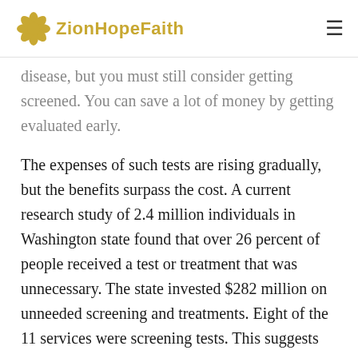ZionHopeFaith
disease, but you must still consider getting screened. You can save a lot of money by getting evaluated early.
The expenses of such tests are rising gradually, but the benefits surpass the cost. A current research study of 2.4 million individuals in Washington state found that over 26 percent of people received a test or treatment that was unnecessary. The state invested $282 million on unneeded screening and treatments. Eight of the 11 services were screening tests. This suggests